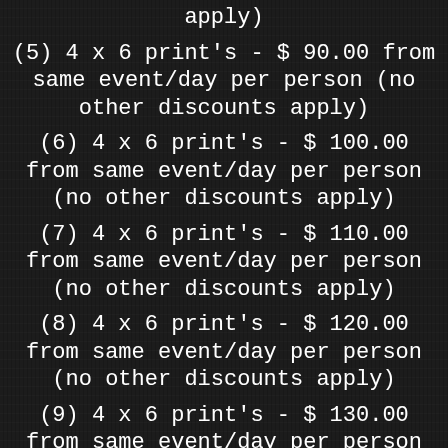apply)
(5) 4 x 6 print's - $ 90.00 from same event/day per person (no other discounts apply)
(6) 4 x 6 print's - $ 100.00 from same event/day per person (no other discounts apply)
(7) 4 x 6 print's - $ 110.00 from same event/day per person (no other discounts apply)
(8) 4 x 6 print's - $ 120.00 from same event/day per person (no other discounts apply)
(9) 4 x 6 print's - $ 130.00 from same event/day per person (no other discounts apply)
(10) 4 x 6 print's - $ 140.00 from same event/day per person (no other discounts apply)